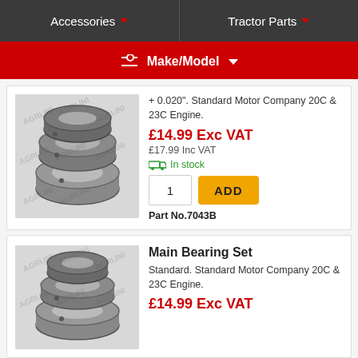Accessories  |  Tractor Parts
Make/Model
+ 0.020". Standard Motor Company 20C & 23C Engine.
£14.99 Exc VAT
£17.99 Inc VAT
In stock
1  ADD
Part No.7043B
Main Bearing Set
Standard. Standard Motor Company 20C & 23C Engine.
£14.99 Exc VAT